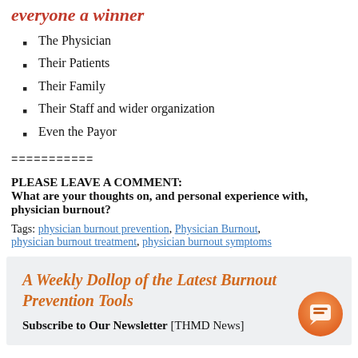everyone a winner
The Physician
Their Patients
Their Family
Their Staff and wider organization
Even the Payor
===========
PLEASE LEAVE A COMMENT: What are your thoughts on, and personal experience with, physician burnout?
Tags: physician burnout prevention, Physician Burnout, physician burnout treatment, physician burnout symptoms
A Weekly Dollop of the Latest Burnout Prevention Tools
Subscribe to Our Newsletter [THMD News]